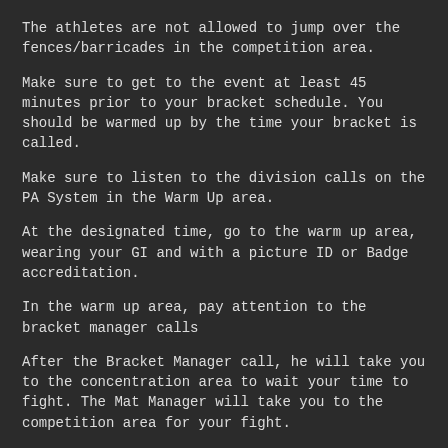The athletes are not allowed to jump over the fences/barricades in the competition area.
Make sure to get to the event at least 45 minutes prior to your bracket schedule. You should be warmed up by the time your bracket is called.
Make sure to listen to the division calls on the PA System in the Warm Up area.
At the designated time, go to the warm up area, wearing your GI and with a picture ID or Badge accreditation.
In the warm up area, pay attention to the bracket manager calls
After the Bracket Manager call, he will take you to the concentration area to wait your time to fight. The Mat Manager will take you to the competition area for your fight.